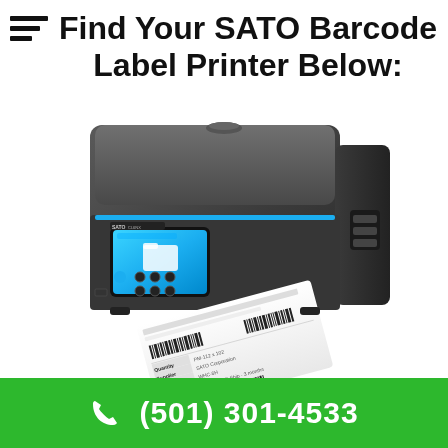Find Your SATO Barcode Label Printer Below:
[Figure (photo): SATO CL6NX industrial barcode label printer, dark grey/black, shown at an angle with a label printing out from the front showing barcode data, blue touchscreen display visible on the front panel.]
(501) 301-4533